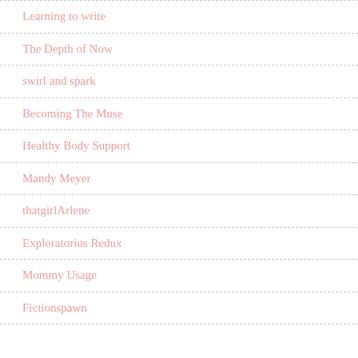Learning to write
The Depth of Now
swirl and spark
Becoming The Muse
Healthy Body Support
Mandy Meyer
thatgirlArlene
Exploratorius Redux
Mommy Usage
Fictionspawn